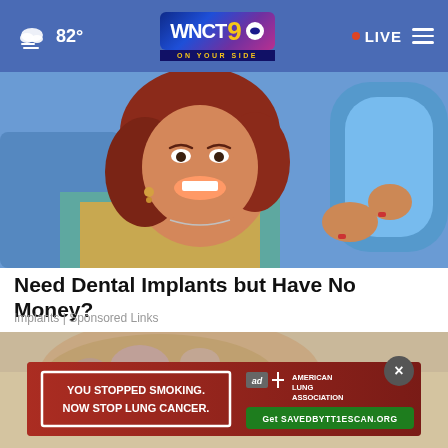WNCT 9 ON YOUR SIDE | 82° | LIVE
[Figure (photo): Woman with red hair smiling and holding a blue hand mirror, sitting in a dental chair]
Need Dental Implants but Have No Money?
Implants | Sponsored Links
[Figure (photo): Close-up of a leg/arm with mottled skin against a beige background, with an ad overlay: YOU STOPPED SMOKING. NOW STOP LUNG CANCER. — American Lung Association — Get SAVEDBYTT1ESCAN.ORG]